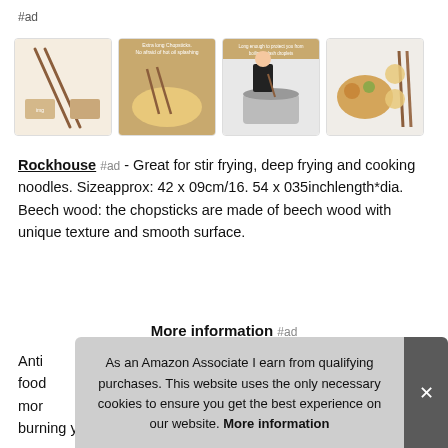#ad
[Figure (photo): Four product thumbnail images of chopsticks in various settings]
Rockhouse #ad - Great for stir frying, deep frying and cooking noodles. Sizeapprox: 42 x 09cm/16. 54 x 035inchlength*dia. Beech wood: the chopsticks are made of beech wood with unique texture and smooth surface.
More information #ad
Anti... food... mor... burning your hands with hot oil or steam when cooking.
As an Amazon Associate I earn from qualifying purchases. This website uses the only necessary cookies to ensure you get the best experience on our website. More information